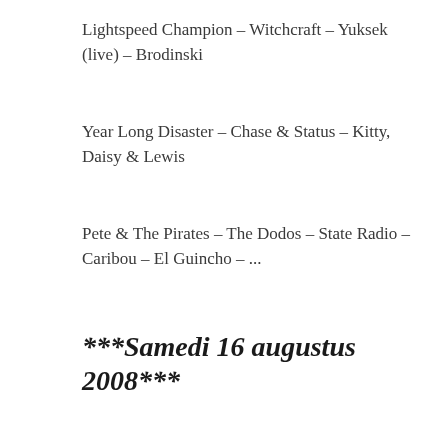Lightspeed Champion – Witchcraft – Yuksek (live) – Brodinski
Year Long Disaster – Chase & Status – Kitty, Daisy & Lewis
Pete & The Pirates – The Dodos – State Radio – Caribou – El Guincho – ...
***Samedi 16 augustus 2008***
Bloc Party
Soulwax – 2manydjs
Stephen Marley – Elbow – Jamie Lidell